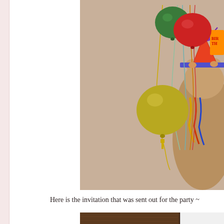[Figure (photo): Party scene with colorful balloons (green, red, yellow/olive) and a stuffed bear or animal wearing a birthday party hat with purple tinsel and colorful beaded necklace, against a beige wall background.]
Here is the invitation that was sent out for the party ~
[Figure (photo): Partial view of what appears to be a wooden table or surface with a white card or invitation visible, cropped at the bottom of the page.]